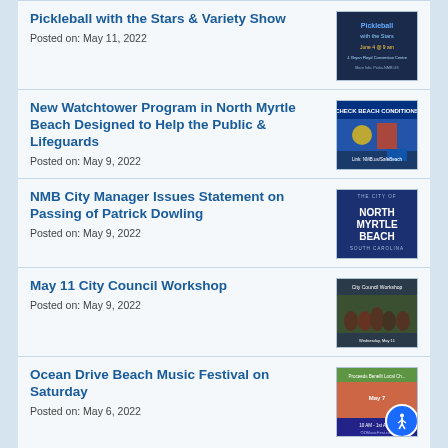Pickleball with the Stars & Variety Show
Posted on: May 11, 2022
[Figure (photo): Promotional image for Pickleball with the Stars event, June 4 at 9am]
New Watchtower Program in North Myrtle Beach Designed to Help the Public & Lifeguards
Posted on: May 9, 2022
[Figure (photo): Check Beach Conditions banner with Link: NMB.us/SafeBeach]
NMB City Manager Issues Statement on Passing of Patrick Dowling
Posted on: May 9, 2022
[Figure (logo): City of North Myrtle Beach, South Carolina seal/logo on blue background]
May 11 City Council Workshop
Posted on: May 9, 2022
[Figure (photo): City Council Workshop photo with group of people]
Ocean Drive Beach Music Festival on Saturday
Posted on: May 6, 2022
[Figure (photo): Ocean Drive Beach Music Festival promotional image, 10 AM - 1st Ave S, ODMusicFest.com]